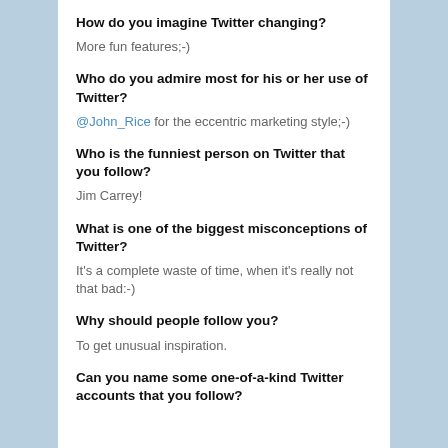How do you imagine Twitter changing?
More fun features;-)
Who do you admire most for his or her use of Twitter?
@John_Rice for the eccentric marketing style;-)
Who is the funniest person on Twitter that you follow?
Jim Carrey!
What is one of the biggest misconceptions of Twitter?
It's a complete waste of time, when it's really not that bad:-)
Why should people follow you?
To get unusual inspiration.
Can you name some one-of-a-kind Twitter accounts that you follow?